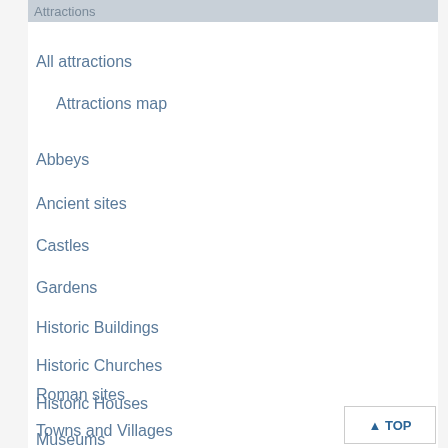Attractions
All attractions
Attractions map
Abbeys
Ancient sites
Castles
Gardens
Historic Buildings
Historic Churches
Historic Houses
Museums
Roman sites
Towns and Villages